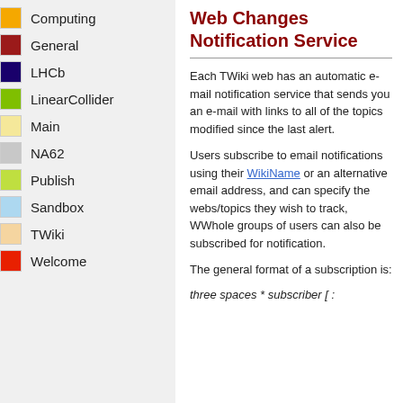Computing
General
LHCb
LinearCollider
Main
NA62
Publish
Sandbox
TWiki
Welcome
Web Changes Notification Service
Each TWiki web has an automatic e-mail notification service that sends you an e-mail with links to all of the topics modified since the last alert.
Users subscribe to email notifications using their WikiName or an alternative email address, and can specify the webs/topics they wish to track, WWhole groups of users can also be subscribed for notification.
The general format of a subscription is:
three spaces * subscriber [ :